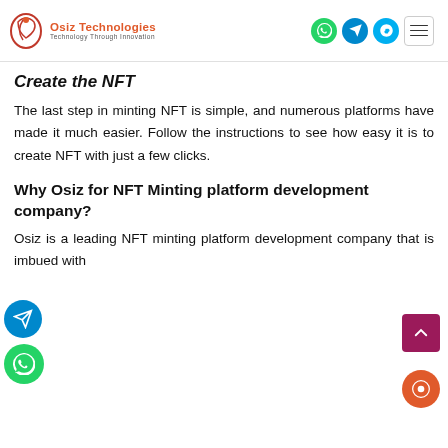Osiz Technologies — Technology Through Innovation
Create the NFT
The last step in minting NFT is simple, and numerous platforms have made it much easier. Follow the instructions to see how easy it is to create NFT with just a few clicks.
Why Osiz for NFT Minting platform development company?
Osiz is a leading NFT minting platform development company that is imbued with